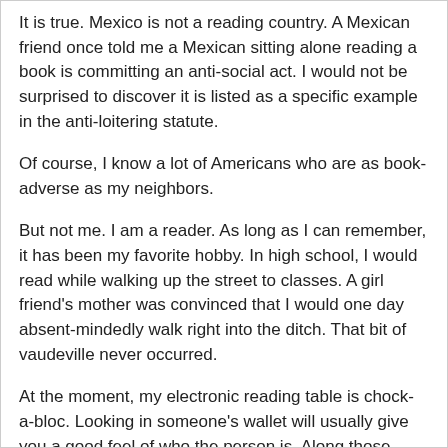It is true.  Mexico is not a reading country. A Mexican friend once told me a Mexican sitting alone reading a book is committing an anti-social act.  I would not be surprised to discover it is listed as a specific example in the anti-loitering statute.
Of course, I know a lot of Americans who are as book-adverse as my neighbors.
But not me.  I am a reader.  As long as I can remember, it has been my favorite hobby.  In high school, I would read while walking up the street to classes.  A girl friend's mother was convinced that I would one day absent-mindedly walk right into the ditch.  That bit of vaudeville never occurred.
At the moment, my electronic reading table is chock-a-bloc.  Looking in someone's wallet will usually give you a good feel of who the person is.  Along those lines, let me share with you what I have been reading and what remains unread on the Kindle.
The Best Exotic Marigold Hotel – a bittersweet novel of…